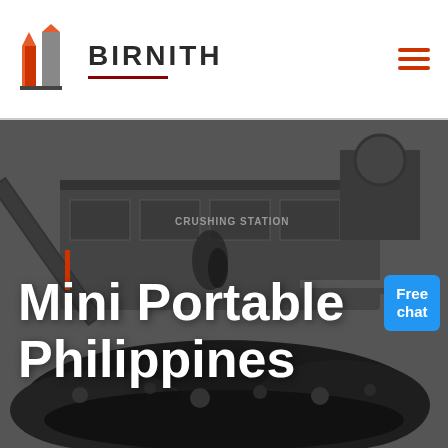[Figure (logo): Birnith company logo: orange/red building icon with two towers, and the text BIRNITH with a dark red underline, plus orange hamburger menu icon on the right]
[Figure (photo): Dark industrial photograph of a large mobile crushing station machine with conveyor belts, surrounded by piles of crushed black rock/coal. Text 'CRUSHING STATION' visible on the machine.]
Mini Portable Philippines
Free chat